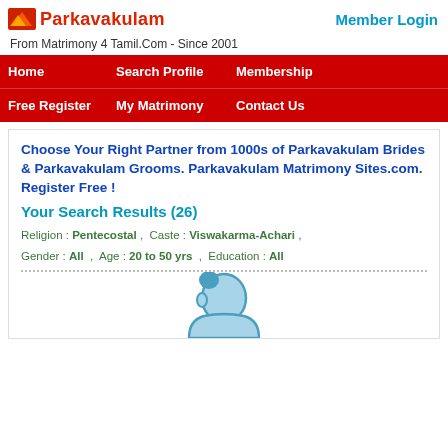Parkavakulam | Member Login
From Matrimony 4 Tamil.Com - Since 2001
Home   Search Profile   Membership   Free Register   My Matrimony   Contact Us
Choose Your Right Partner from 1000s of Parkavakulam Brides & Parkavakulam Grooms. Parkavakulam Matrimony Sites.com. Register Free !
Your Search Results (26)
Religion : Pentecostal , Caste : Viswakarma-Achari , Gender : All , Age : 20 to 50 yrs , Education : All
[Figure (illustration): Blue cartoon avatar/silhouette of a person's head and shoulders, used as a profile placeholder image]